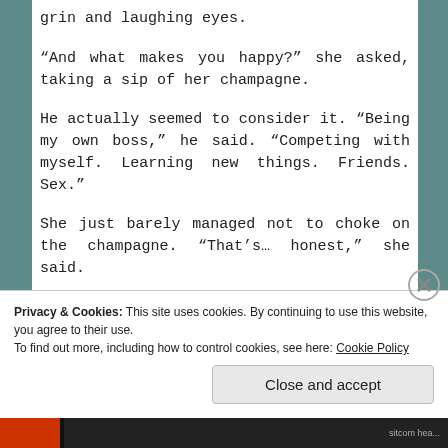grin and laughing eyes.
“And what makes you happy?” she asked, taking a sip of her champagne.
He actually seemed to consider it. “Being my own boss,” he said. “Competing with myself. Learning new things. Friends. Sex.”
She just barely managed not to choke on the champagne. “That’s… honest,” she said.
Privacy & Cookies: This site uses cookies. By continuing to use this website, you agree to their use.
To find out more, including how to control cookies, see here: Cookie Policy
Close and accept